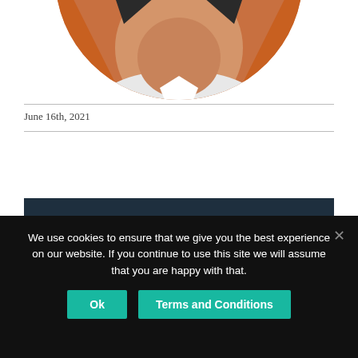[Figure (photo): Close-up photo of a person's lower face/chin area, partially cropped, with circular framing. Orange/brown tones visible at edges.]
June 16th, 2021
Share this...
We use cookies to ensure that we give you the best experience on our website. If you continue to use this site we will assume that you are happy with that.
Ok
Terms and Conditions